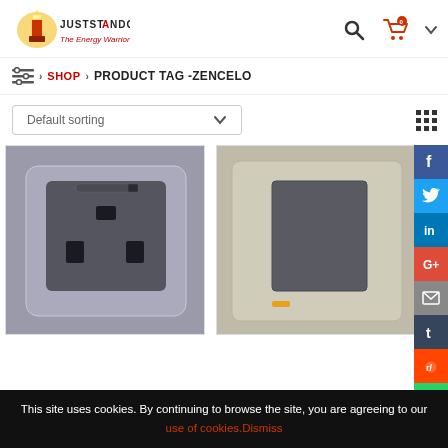[Figure (logo): JustStandOut logo with lighthouse icon and tagline 'The Energy Warriors']
JUSTSTANDOUT - The Energy Warriors
HOME > SHOP > PRODUCT TAG -ZENCELO
Default sorting
[Figure (photo): Zencelo electrical socket/outlet product in silver/grey finish]
[Figure (photo): Zencelo light switch product in silver/champagne finish with orange LED indicator]
This site uses cookies. By continuing to browse the site, you are agreeing to our use of cookies. Dismiss